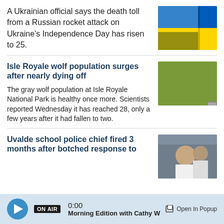A Ukrainian official says the death toll from a Russian rocket attack on Ukraine's Independence Day has risen to 25.
[Figure (photo): Ukrainian flag waving against a clear sky]
Isle Royale wolf population surges after nearly dying off
The gray wolf population at Isle Royale National Park is healthy once more. Scientists reported Wednesday it has reached 28, only a few years after it had fallen to two.
[Figure (photo): A gray wolf lying in grass and foliage at Isle Royale National Park]
Uvalde school police chief fired 3 months after botched response to
[Figure (photo): Man in white shirt, partial view, news scene]
ON AIR  0:00  Morning Edition with Cathy W  Open In Popup